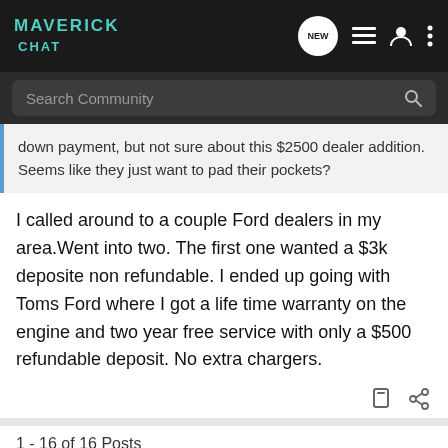MAVERICK CHAT
Search Community
down payment, but not sure about this $2500 dealer addition. Seems like they just want to pad their pockets?
I called around to a couple Ford dealers in my area.Went into two. The first one wanted a $3k deposite non refundable. I ended up going with Toms Ford where I got a life time warranty on the engine and two year free service with only a $500 refundable deposit. No extra chargers.
1 - 16 of 16 Posts
[Figure (screenshot): Advertisement banner: ON X OFFROAD - OFFROAD TRAIL MAPS & GPS, Try for Free]
This is a  ould be reviving